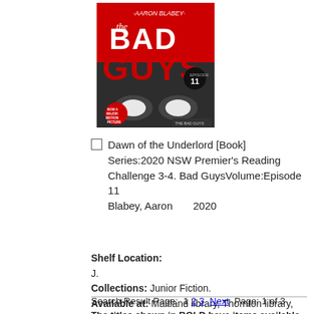[Figure (photo): Book cover of 'The Bad Guys: Episode 11 - Dawn of the Underlord' by Aaron Blabey. Red and black cover with large stylized text 'BAD GUYS' and a spider-like creature.]
Dawn of the Underlord [Book] Series:2020 NSW Premier's Reading Challenge 3-4. Bad GuysVolume:Episode 11 Blabey, Aaron       2020
Shelf Location:
J.
Collections: Junior Fiction.
Available at: Maitland library, Thornton library, Rutherford library.
Number of Holdings: 7.
Search Result Page:  1 2 3  Next  Page: 1 of 3
The titles shown in BOLD have items available, non bold titles do not have any items in stock